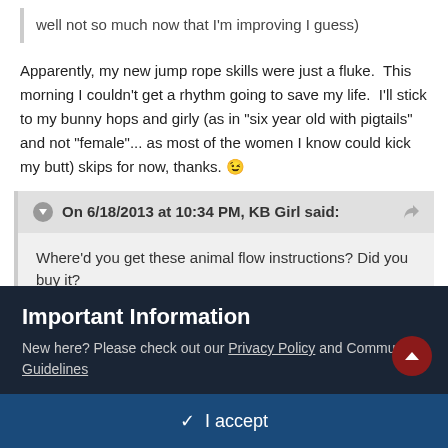well not so much now that I'm improving I guess)
Apparently, my new jump rope skills were just a fluke.  This morning I couldn't get a rhythm going to save my life.  I'll stick to my bunny hops and girly (as in "six year old with pigtails" and not "female"... as most of the women I know could kick my butt) skips for now, thanks. 😉
On 6/18/2013 at 10:34 PM, KB Girl said:
Where'd you get these animal flow instructions? Did you buy it?
Lex's videos got me started.  Check out her thread.  But, yes, to answer your question I did buy it.  The vids are worth it if you've got the cash
Important Information
New here? Please check out our Privacy Policy and Community Guidelines
✔ I accept